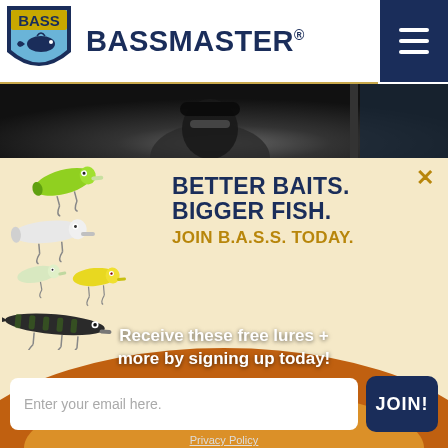[Figure (logo): BASS shield logo with bass fish, yellow and blue colors]
BASSMASTER.
[Figure (photo): Dark photo of a person wearing sunglasses and a cap, viewed through a car window]
[Figure (illustration): Fishing lures: green crankbait, white crankbait, small pale crankbait, yellow crankbait, and a dark striped jerkbait]
BETTER BAITS. BIGGER FISH. JOIN B.A.S.S. TODAY.
Receive these free lures + more by signing up today!
Enter your email here.
JOIN!
Privacy Policy